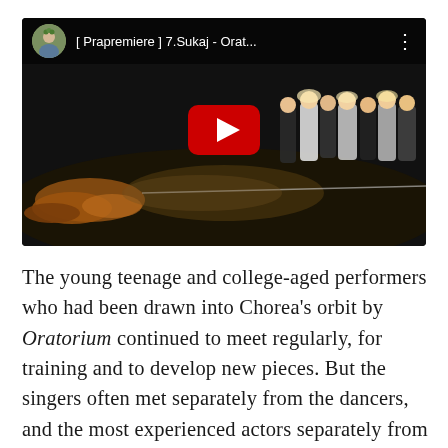[Figure (screenshot): YouTube video thumbnail showing a performance titled '[ Prapremiere ] 7.Sukaj - Orat...' with a dark stage, dancers grouped on the right, autumn leaves on the stage floor, and a red YouTube play button in the center. The top bar shows a circular avatar photo and the video title.]
The young teenage and college-aged performers who had been drawn into Chorea's orbit by Oratorium continued to meet regularly, for training and to develop new pieces. But the singers often met separately from the dancers, and the most experienced actors separately from both. There was some overlap—individual